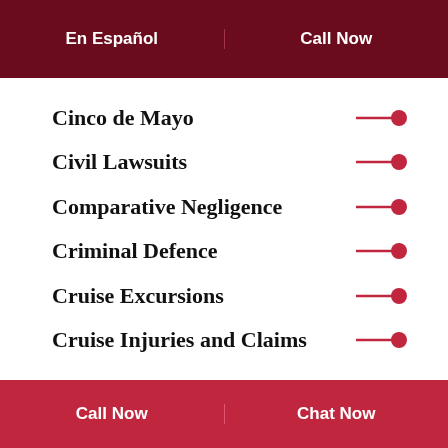En Español | Call Now
Cinco de Mayo
Civil Lawsuits
Comparative Negligence
Criminal Defence
Cruise Excursions
Cruise Injuries and Claims
Call Now | Chat Now